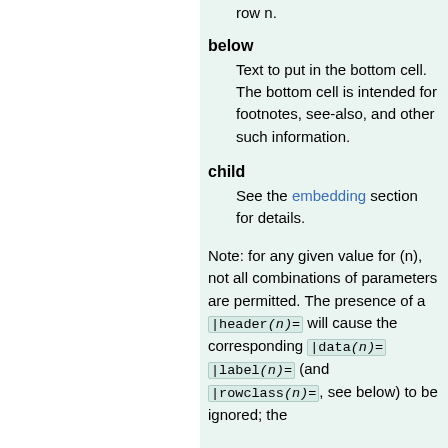row n.
below
Text to put in the bottom cell. The bottom cell is intended for footnotes, see-also, and other such information.
child
See the embedding section for details.
Note: for any given value for (n), not all combinations of parameters are permitted. The presence of a |header(n)= will cause the corresponding |data(n)= |label(n)= (and |rowclass(n)= , see below) to be ignored; the